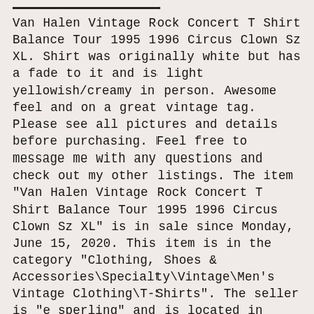Van Halen Vintage Rock Concert T Shirt Balance Tour 1995 1996 Circus Clown Sz XL. Shirt was originally white but has a fade to it and is light yellowish/creamy in person. Awesome feel and on a great vintage tag. Please see all pictures and details before purchasing. Feel free to message me with any questions and check out my other listings. The item "Van Halen Vintage Rock Concert T Shirt Balance Tour 1995 1996 Circus Clown Sz XL" is in sale since Monday, June 15, 2020. This item is in the category "Clothing, Shoes & Accessories\Specialty\Vintage\Men's Vintage Clothing\T-Shirts". The seller is "e_sperling" and is located in Worcester, Massachusetts. This item can be shipped to United States, Canada, United Kingdom, Denmark, Romania, Slovakia, Bulgaria, Czech republic, Finland,